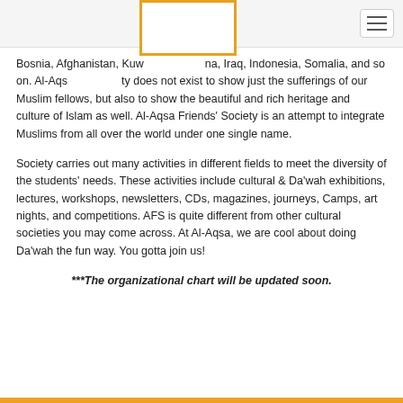[Navigation bar with logo placeholder and hamburger menu]
Bosnia, Afghanistan, Kuwait, Palestine, India, Iraq, Indonesia, Somalia, and so on. Al-Aqsa Friends' Society does not exist to show just the sufferings of our Muslim fellows, but also to show the beautiful and rich heritage and culture of Islam as well. Al-Aqsa Friends' Society is an attempt to integrate Muslims from all over the world under one single name.
Society carries out many activities in different fields to meet the diversity of the students' needs. These activities include cultural & Da'wah exhibitions, lectures, workshops, newsletters, CDs, magazines, journeys, Camps, art nights, and competitions. AFS is quite different from other cultural societies you may come across. At Al-Aqsa, we are cool about doing Da'wah the fun way. You gotta join us!
***The organizational chart will be updated soon.